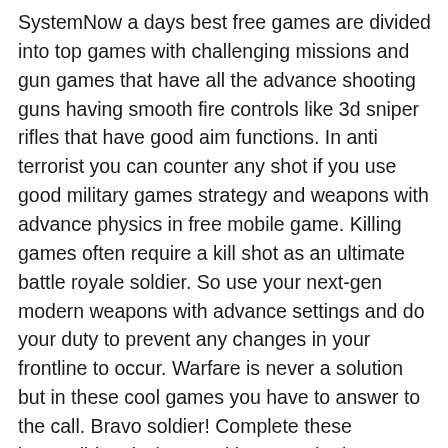SystemNow a days best free games are divided into top games with challenging missions and gun games that have all the advance shooting guns having smooth fire controls like 3d sniper rifles that have good aim functions. In anti terrorist you can counter any shot if you use good military games strategy and weapons with advance physics in free mobile game. Killing games often require a kill shot as an ultimate battle royale soldier. So use your next-gen modern weapons with advance settings and do your duty to prevent any changes in your frontline to occur. Warfare is never a solution but in these cool games you have to answer to the call. Bravo soldier! Complete these impossible missions and become the best sniper shooter to survive the tragic battlefields from war. Ancient War Simulator